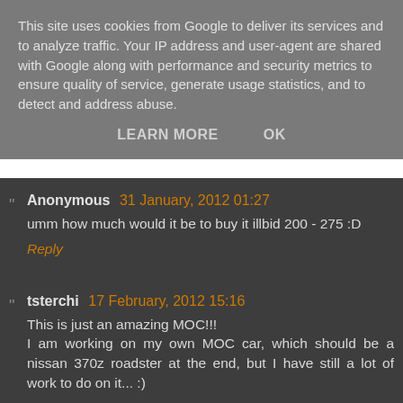This site uses cookies from Google to deliver its services and to analyze traffic. Your IP address and user-agent are shared with Google along with performance and security metrics to ensure quality of service, generate usage statistics, and to detect and address abuse.
LEARN MORE   OK
Anonymous 31 January, 2012 01:27
umm how much would it be to buy it illbid 200 - 275 :D
Reply
tsterchi 17 February, 2012 15:16
This is just an amazing MOC!!!
I am working on my own MOC car, which should be a nissan 370z roadster at the end, but I have still a lot of work to do on it... :)
How did you manage the functions of the mcpherson